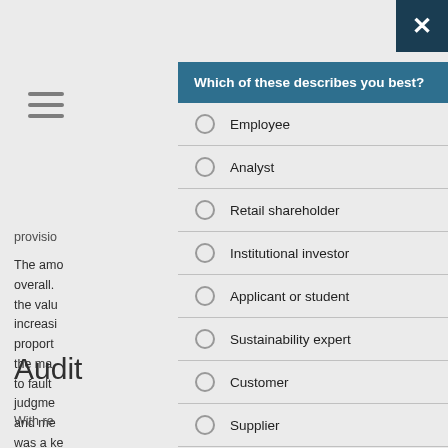[Figure (screenshot): Modal dialog overlay on a webpage with the question 'Which of these describes you best?' and radio button options: Employee, Analyst, Retail shareholder, Institutional investor, Applicant or student, Sustainability expert, Customer, Supplier. Background shows partial page text about provisions, auditing, and a section header 'Audit'.]